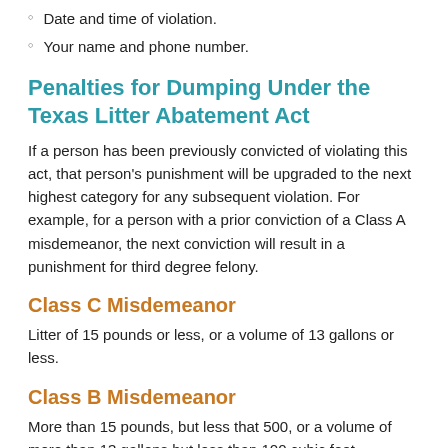Date and time of violation.
Your name and phone number.
Penalties for Dumping Under the Texas Litter Abatement Act
If a person has been previously convicted of violating this act, that person's punishment will be upgraded to the next highest category for any subsequent violation. For example, for a person with a prior conviction of a Class A misdemeanor, the next conviction will result in a punishment for third degree felony.
Class C Misdemeanor
Litter of 15 pounds or less, or a volume of 13 gallons or less.
Class B Misdemeanor
More than 15 pounds, but less that 500, or a volume of more than 13 gallons but less than 100 cubic feet.